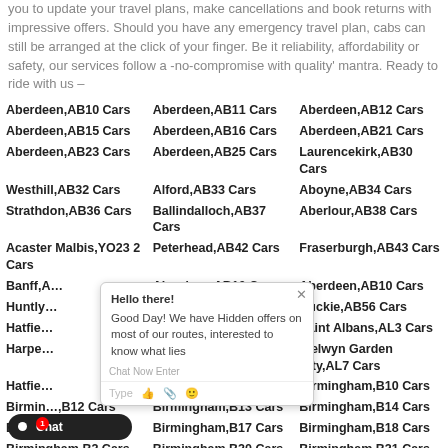you to update your travel plans, make cancellations and book returns with impressive offers. Should you have any emergency travel plan, cabs can still be arranged at the click of your finger. Be it reliability, affordability or safety, our services follow a -no-compromise with quality' mantra. Ready to ride with us –
Aberdeen,AB10 Cars
Aberdeen,AB11 Cars
Aberdeen,AB12 Cars
Aberdeen,AB15 Cars
Aberdeen,AB16 Cars
Aberdeen,AB21 Cars
Aberdeen,AB23 Cars
Aberdeen,AB25 Cars
Laurencekirk,AB30 Cars
Westhill,AB32 Cars
Alford,AB33 Cars
Aboyne,AB34 Cars
Strathdon,AB36 Cars
Ballindalloch,AB37 Cars
Aberlour,AB38 Cars
Acaster Malbis,YO23 2 Cars
Peterhead,AB42 Cars
Fraserburgh,AB43 Cars
Banff,A... Cars
Aberdeen,AB10 Cars
Aberdeen,AB10 Cars
Huntly... Cars
Keith,AB55 Cars
Buckie,AB56 Cars
Hatfie... Cars
Saint Albans,AL2 Cars
Saint Albans,AL3 Cars
Harpe... Cars
Welwyn,AL6 Cars
Welwyn Garden City,AL7 Cars
Hatfie... Cars
Birmingham,B1 Cars
Birmingham,B10 Cars
Birmingham,B12 Cars
Birmingham,B13 Cars
Birmingham,B14 Cars
Birmingham,B16 Cars
Birmingham,B17 Cars
Birmingham,B18 Cars
Birmingham,B2 Cars
Birmingham,B20 Cars
Birmingham,B21 Cars